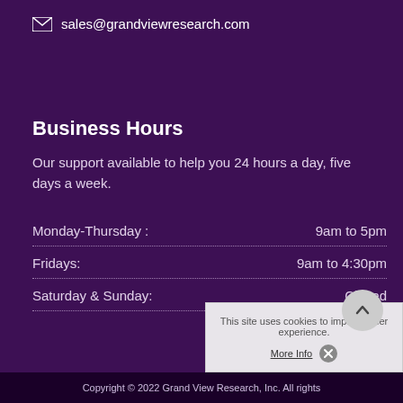sales@grandviewresearch.com
Business Hours
Our support available to help you 24 hours a day, five days a week.
| Day | Hours |
| --- | --- |
| Monday-Thursday : | 9am to 5pm |
| Fridays: | 9am to 4:30pm |
| Saturday & Sunday: | Closed |
This site uses cookies to improve user experience.
More Info
Copyright © 2022 Grand View Research, Inc. All rights